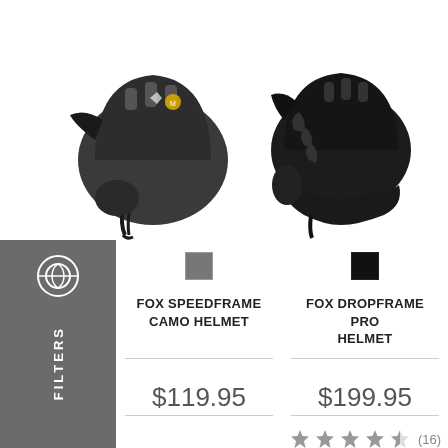[Figure (photo): Fox Speedframe Camo mountain bike helmet in dark grey/camo, viewed from the side]
[Figure (photo): Fox Dropframe Pro mountain bike helmet in black, viewed from the side]
FOX SPEEDFRAME CAMO HELMET
$119.95
FOX DROPFRAME PRO HELMET
$199.95
(16)